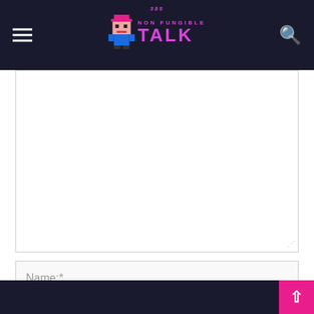Non Fungible Talk
[Figure (screenshot): Comment form text area (empty), partially visible at top]
Name:*
Email:*
Website:
Save my name, email, and website in this browser for the next time I comment.